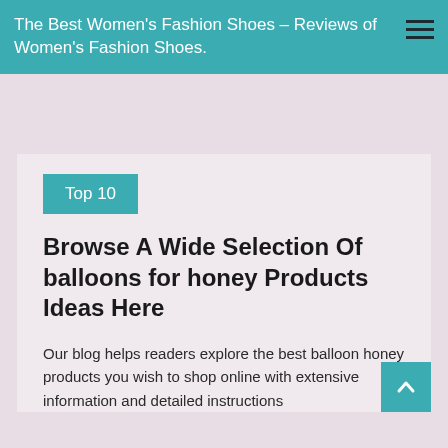The Best Women's Fashion Shoes – Reviews of Women's Fashion Shoes.
Top 10
Browse A Wide Selection Of balloons for honey Products Ideas Here
Our blog helps readers explore the best balloon honey products you wish to shop online with extensive information and detailed instructions